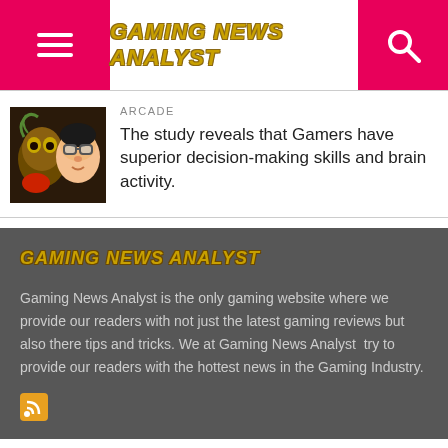Gaming News Analyst
ARCADE
The study reveals that Gamers have superior decision-making skills and brain activity.
[Figure (illustration): Thumbnail image showing two illustrated/stylized game character faces side by side]
[Figure (logo): Gaming News Analyst logo text in footer]
Gaming News Analyst is the only gaming website where we provide our readers with not just the latest gaming reviews but also there tips and tricks. We at Gaming News Analyst  try to provide our readers with the hottest news in the Gaming Industry.